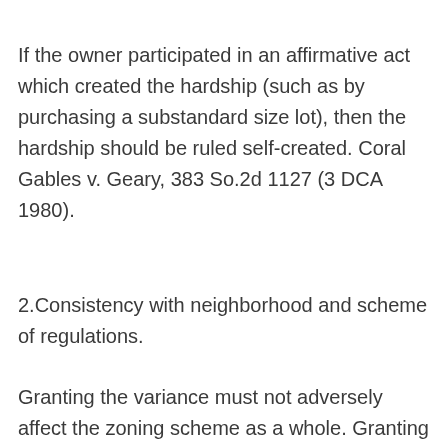If the owner participated in an affirmative act which created the hardship (such as by purchasing a substandard size lot), then the hardship should be ruled self-created. Coral Gables v. Geary, 383 So.2d 1127 (3 DCA 1980).
2.Consistency with neighborhood and scheme of regulations.
Granting the variance must not adversely affect the zoning scheme as a whole. Granting of a variance is